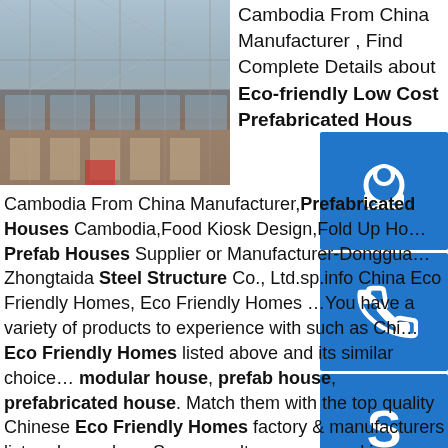[Figure (photo): Photo of a steel structure building under construction with lattice roof framework and glass windows]
Cambodia From China Manufacturer , Find Complete Details about Eco-friendly Low Cost Prefabricated House
[Figure (infographic): Blue square icon with headset/customer service symbol]
[Figure (infographic): Blue square icon with phone/call symbol]
[Figure (infographic): Blue square icon with Skype logo symbol]
Cambodia From China Manufacturer,Prefabricated Houses Cambodia,Food Kiosk Design,Fold Up Ho… Prefab Houses Supplier or Manufacturer-Donggua… Zhongtaida Steel Structure Co., Ltd.sp.info China Eco Friendly Homes, Eco Friendly Homes …You have a variety of products to experience with such as Chi… Eco Friendly Homes listed above and its similar choice… modular house, prefab house, prefabricated house. Match them with the top quality Chinese Eco Friendly Homes factory & manufacturers list and more here.Some results are removed in response to a notice of local law requirement. For more information, please see here.sp.infoEco Friendly Light Steel Structure House/Prefabricated ...Eco Friendly Light Steel